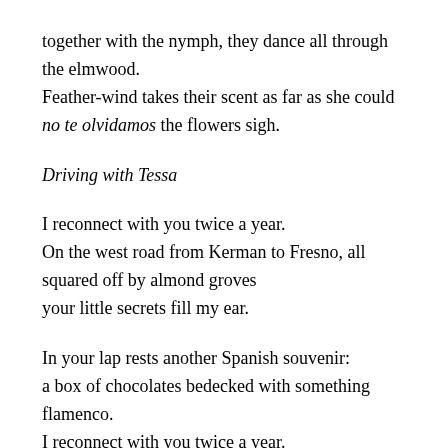together with the nymph, they dance all through the elmwood.
Feather-wind takes their scent as far as she could
no te olvidamos the flowers sigh.
Driving with Tessa
I reconnect with you twice a year.
On the west road from Kerman to Fresno, all squared off by almond groves
your little secrets fill my ear.
In your lap rests another Spanish souvenir:
a box of chocolates bedecked with something flamenco.
I reconnect with you twice a year.
You sip iced coffee, I shift into fourth, fifth gear.